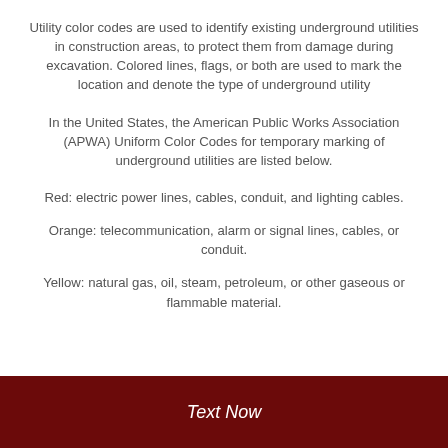Utility color codes are used to identify existing underground utilities in construction areas, to protect them from damage during excavation. Colored lines, flags, or both are used to mark the location and denote the type of underground utility
In the United States, the American Public Works Association (APWA) Uniform Color Codes for temporary marking of underground utilities are listed below.
Red: electric power lines, cables, conduit, and lighting cables.
Orange: telecommunication, alarm or signal lines, cables, or conduit.
Yellow: natural gas, oil, steam, petroleum, or other gaseous or flammable material.
Text Now